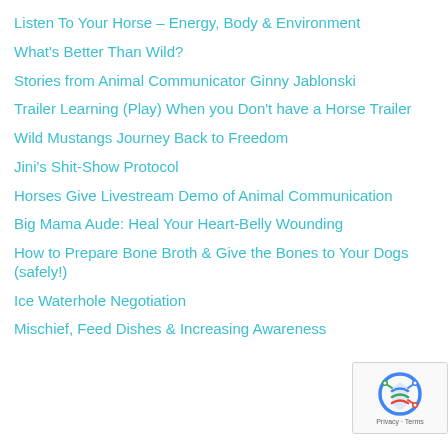Listen To Your Horse – Energy, Body & Environment
What's Better Than Wild?
Stories from Animal Communicator Ginny Jablonski
Trailer Learning (Play) When you Don't have a Horse Trailer
Wild Mustangs Journey Back to Freedom
Jini's Shit-Show Protocol
Horses Give Livestream Demo of Animal Communication
Big Mama Aude: Heal Your Heart-Belly Wounding
How to Prepare Bone Broth & Give the Bones to Your Dogs (safely!)
Ice Waterhole Negotiation
Mischief, Feed Dishes & Increasing Awareness